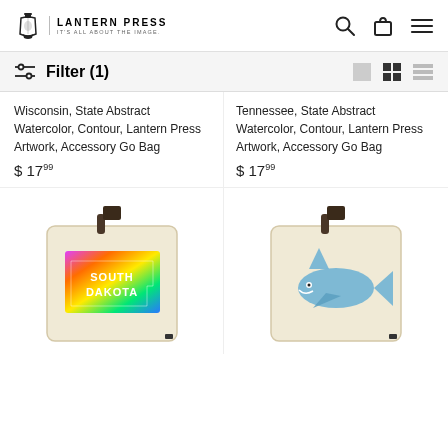[Figure (logo): Lantern Press logo with lantern icon and text 'LANTERN PRESS - IT'S ALL ABOUT THE IMAGE.']
Filter (1)
Wisconsin, State Abstract Watercolor, Contour, Lantern Press Artwork, Accessory Go Bag
$ 17.99
Tennessee, State Abstract Watercolor, Contour, Lantern Press Artwork, Accessory Go Bag
$ 17.99
[Figure (photo): Accessory go bag with South Dakota colorful state design]
[Figure (photo): Accessory go bag with shark illustration]